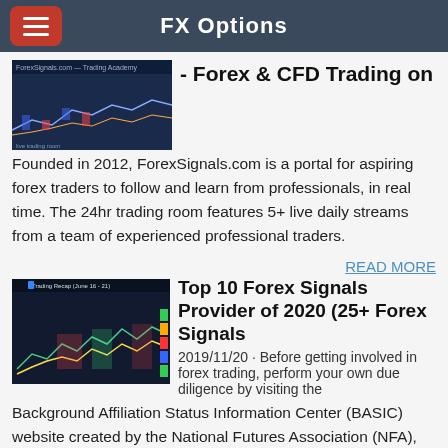FX Options
- Forex & CFD Trading on
Founded in 2012, ForexSignals.com is a portal for aspiring forex traders to follow and learn from professionals, in real time. The 24hr trading room features 5+ live daily streams from a team of experienced professional traders.
READ MORE
[Figure (screenshot): Trading chart screenshot showing candlestick/line chart with colored indicators]
Top 10 Forex Signals Provider of 2020 (25+ Forex Signals
2019/11/20 · Before getting involved in forex trading, perform your own due diligence by visiting the Background Affiliation Status Information Center (BASIC) website created by the National Futures Association (NFA), the futures and options industry's self-regulatory organization, to learn how to choose a reputable broker and avoid scams. Before dealing with